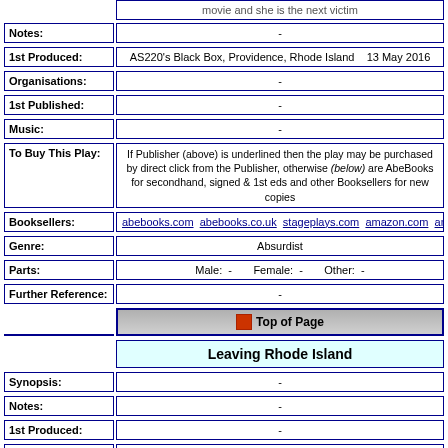| Field | Value |
| --- | --- |
| Notes: | - |
| 1st Produced: | AS220's Black Box, Providence, Rhode Island    13 May 2016 |
| Organisations: | - |
| 1st Published: | - |
| Music: | - |
| To Buy This Play: | If Publisher (above) is underlined then the play may be purchased by direct click from the Publisher, otherwise (below) are AbeBooks for secondhand, signed & 1st eds and other Booksellers for new copies |
| Booksellers: | abebooks.com  abebooks.co.uk  stageplays.com  amazon.com  amazon.co.uk  am |
| Genre: | Absurdist |
| Parts: | Male:  -      Female:  -      Other:  - |
| Further Reference: | - |
Top of Page
Leaving Rhode Island
| Field | Value |
| --- | --- |
| Synopsis: | - |
| Notes: | - |
| 1st Produced: | - |
| Organisations: | - |